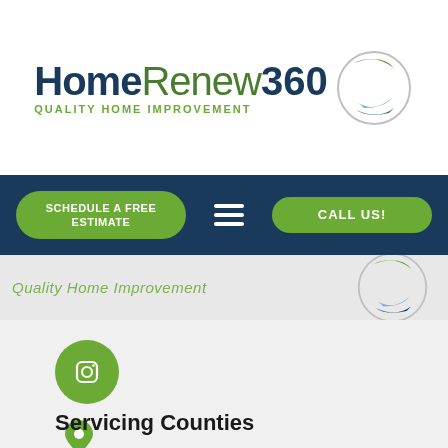[Figure (logo): HomeRenew360 Quality Home Improvement logo with circular swoosh graphic]
[Figure (screenshot): Navigation bar with green 'Schedule a Free Estimate' button, hamburger menu icon, and green 'Call Us!' button on dark navy background]
Quality Home Improvement (partial hero text)
[Figure (logo): Partial circular swoosh logo visible at top right of hero section]
[Figure (other): Green circle with Instagram icon (camera outline)]
[Figure (other): Green map/location pin icon]
Servicing Counties